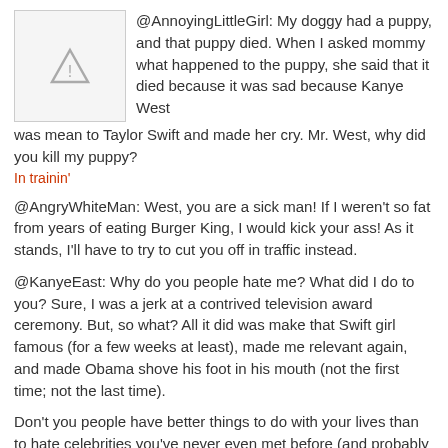@AnnoyingLittleGirl: My doggy had a puppy, and that puppy died. When I asked mommy what happened to the puppy, she said that it died because it was sad because Kanye West was mean to Taylor Swift and made her cry. Mr. West, why did you kill my puppy?
In trainin'
@AngryWhiteMan: West, you are a sick man! If I weren't so fat from years of eating Burger King, I would kick your ass! As it stands, I'll have to try to cut you off in traffic instead.
@KanyeEast: Why do you people hate me? What did I do to you? Sure, I was a jerk at a contrived television award ceremony. But, so what? All it did was make that Swift girl famous (for a few weeks at least), made me relevant again, and made Obama shove his foot in his mouth (not the first time; not the last time).
Don't you people have better things to do with your lives than to hate celebrities you've never even met before (and probably like to argue with)?